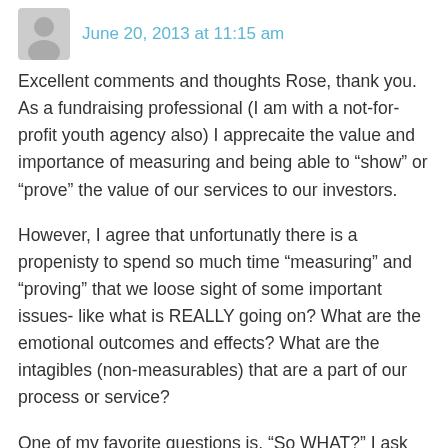June 20, 2013 at 11:15 am
Excellent comments and thoughts Rose, thank you. As a fundraising professional (I am with a not-for-profit youth agency also) I apprecaite the value and importance of measuring and being able to “show” or “prove” the value of our services to our investors.
However, I agree that unfortunatly there is a propenisty to spend so much time “measuring” and “proving” that we loose sight of some important issues- like what is REALLY going on? What are the emotional outcomes and effects? What are the intagibles (non-measurables) that are a part of our process or service?
One of my favorite questions is, “So WHAT?” I ask this a lot and it often frustrates the more analytical in the world. For example, “So what do those numbers